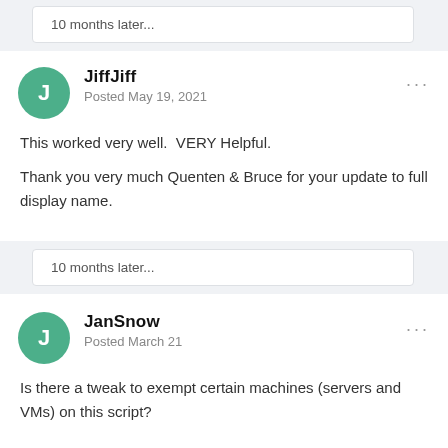10 months later...
JiffJiff
Posted May 19, 2021
This worked very well.  VERY Helpful.

Thank you very much Quenten & Bruce for your update to full display name.
10 months later...
JanSnow
Posted March 21
Is there a tweak to exempt certain machines (servers and VMs) on this script?